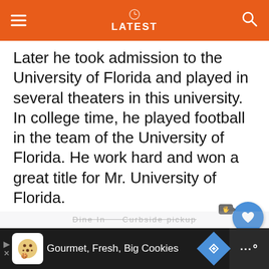LATEST
Later he took admission to the University of Florida and played in several theaters in this university. In college time, he played football in the team of the University of Florida. He work hard and won a great title for Mr. University of Florida.
[Figure (screenshot): Floating action buttons: heart/like button (blue circle) with count 1, and share button below; a tooltip bubble visible next to the like button.]
[Figure (screenshot): What's Next card with a circular photo of a person, label 'WHAT'S NEXT →', and text 'KevOnStage Net Worth...']
[Figure (other): Bottom advertisement bar with cookie brand icon, text 'Gourmet, Fresh, Big Cookies', a blue diamond navigation icon, and a dark right section with dots/waves symbol.]